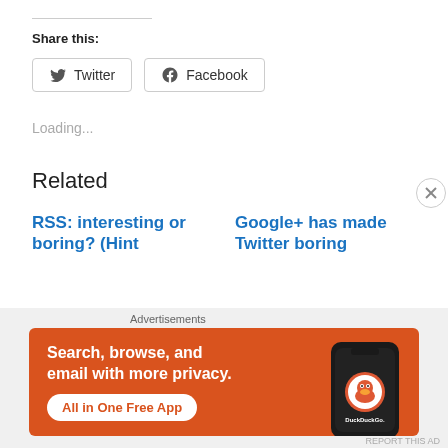Share this:
Twitter  Facebook
Loading...
Related
RSS: interesting or boring? (Hint
Google+ has made Twitter boring
[Figure (screenshot): DuckDuckGo advertisement banner: orange background with text 'Search, browse, and email with more privacy. All in One Free App' and a phone showing the DuckDuckGo app logo. Labeled 'Advertisements'.]